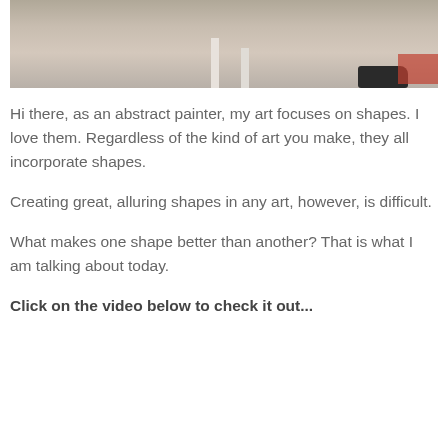[Figure (photo): Cropped photo showing legs of an animal (likely a dog or horse) on a rocky/painted ground surface, with a dark shoe visible on the right side and a reddish patch in the corner.]
Hi there, as an abstract painter, my art focuses on shapes. I love them. Regardless of the kind of art you make, they all incorporate shapes.
Creating great, alluring shapes in any art, however, is difficult.
What makes one shape better than another? That is what I am talking about today.
Click on the video below to check it out...